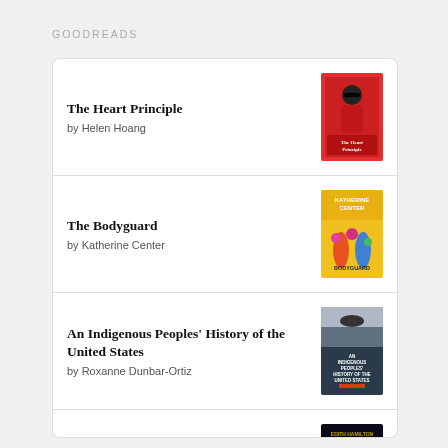GOODREADS
The Heart Principle by Helen Hoang
The Bodyguard by Katherine Center
An Indigenous Peoples' History of the United States by Roxanne Dunbar-Ortiz
Mythology by Edith Hamilton
Native American Myths & Legends by Various